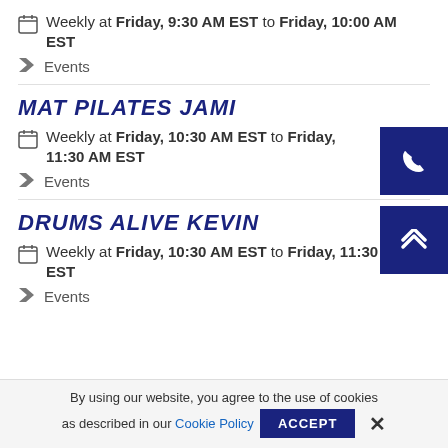Weekly at Friday, 9:30 AM EST to Friday, 10:00 AM EST
Events
MAT PILATES JAMI
Weekly at Friday, 10:30 AM EST to Friday, 11:30 AM EST
Events
DRUMS ALIVE KEVIN
Weekly at Friday, 10:30 AM EST to Friday, 11:30 AM EST
Events
By using our website, you agree to the use of cookies as described in our Cookie Policy